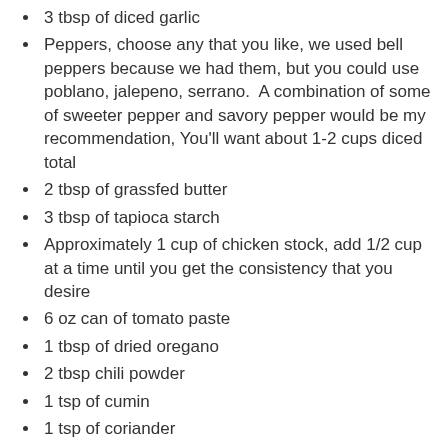3 tbsp of diced garlic
Peppers, choose any that you like, we used bell peppers because we had them, but you could use poblano, jalepeno, serrano.  A combination of some of sweeter pepper and savory pepper would be my recommendation, You'll want about 1-2 cups diced total
2 tbsp of grassfed butter
3 tbsp of tapioca starch
Approximately 1 cup of chicken stock, add 1/2 cup at a time until you get the consistency that you desire
6 oz can of tomato paste
1 tbsp of dried oregano
2 tbsp chili powder
1 tsp of cumin
1 tsp of coriander
Pinch of cayenne pepper (optional)